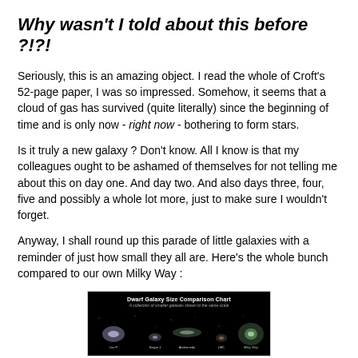Why wasn't I told about this before ?!?!
Seriously, this is an amazing object. I read the whole of Croft's 52-page paper, I was so impressed. Somehow, it seems that a cloud of gas has survived (quite literally) since the beginning of time and is only now - right now - bothering to form stars.
Is it truly a new galaxy ? Don't know. All I know is that my colleagues ought to be ashamed of themselves for not telling me about this on day one. And day two. And also days three, four, five and possibly a whole lot more, just to make sure I wouldn't forget.
Anyway, I shall round up this parade of little galaxies with a reminder of just how small they all are. Here's the whole bunch compared to our own Milky Way :
[Figure (illustration): Dwarf Galaxy Size Comparison Chart - A collection of smaller galaxies shown to the same scale, displayed on a black background with galaxy images and labels]